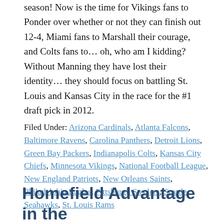season!  Now is the time for Vikings fans to Ponder over whether or not they can finish out 12-4, Miami fans to Marshall their courage, and Colts fans to… oh, who am I kidding?  Without Manning they have lost their identity…  they should focus on battling St. Louis and Kansas City in the race for the #1 draft pick in 2012.
Filed Under: Arizona Cardinals, Atlanta Falcons, Baltimore Ravens, Carolina Panthers, Detroit Lions, Green Bay Packers, Indianapolis Colts, Kansas City Chiefs, Minnesota Vikings, National Football League, New England Patriots, New Orleans Saints, Philadelphia Eagles, Pittsburgh Steelers, Seattle Seahawks, St. Louis Rams
Homefield Advantage in the